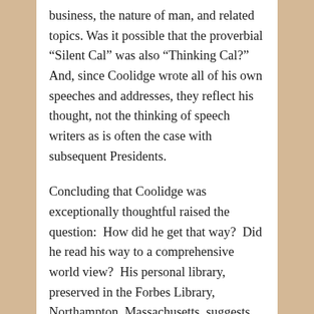business, the nature of man, and related topics. Was it possible that the proverbial “Silent Cal” was also “Thinking Cal?”  And, since Coolidge wrote all of his own speeches and addresses, they reflect his thought, not the thinking of speech writers as is often the case with subsequent Presidents.
Concluding that Coolidge was exceptionally thoughtful raised the question:  How did he get that way?  Did he read his way to a comprehensive world view?  His personal library, preserved in the Forbes Library, Northampton, Massachusetts, suggests that he was, indeed, very widely read.  The same message, in the form of copious literary quotations and paraphrases, jumps out of the pages of his dozens of essays and speeches.